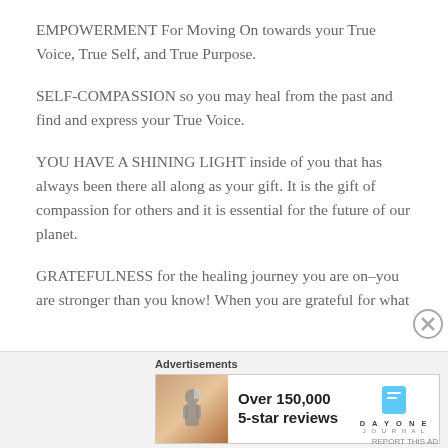EMPOWERMENT For Moving On towards your True Voice, True Self, and True Purpose.
SELF-COMPASSION so you may heal from the past and find and express your True Voice.
YOU HAVE A SHINING LIGHT inside of you that has always been there all along as your gift. It is the gift of compassion for others and it is essential for the future of our planet.
GRATEFULNESS for the healing journey you are on–you are stronger than you know! When you are grateful for what
[Figure (other): Advertisement banner with Day One Journal app promotion showing 'Over 150,000 5-star reviews' with a photo of a person and the Day One Journal logo]
REPORT THIS AD